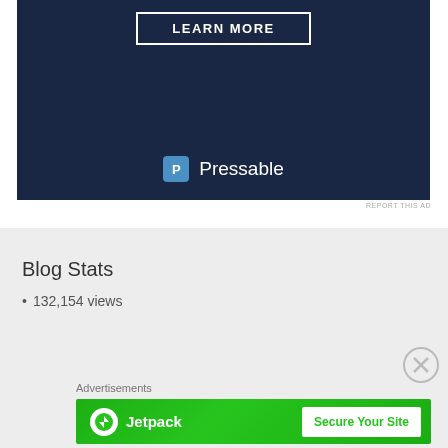[Figure (screenshot): Dark navy blue advertisement banner with 'LEARN MORE' button and Pressable logo at bottom]
REPORT THIS AD
Blog Stats
132,154 views
Advertisements
[Figure (screenshot): Jetpack advertisement banner in green with logo and 'Secure Your Site' button]
REPORT THIS AD